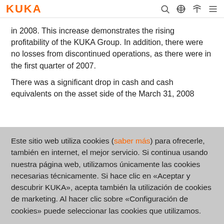KUKA
in 2008. This increase demonstrates the rising profitability of the KUKA Group. In addition, there were no losses from discontinued operations, as there were in the first quarter of 2007.
There was a significant drop in cash and cash equivalents on the asset side of the March 31, 2008
Este sitio web utiliza cookies (saber más) para ofrecerle, también en internet, el mejor servicio. Si continua usando nuestra página web, utilizamos únicamente las cookies necesarias técnicamente. Si hace clic en «Aceptar y descubrir KUKA», acepta también la utilización de cookies de marketing. Al hacer clic sobre «Configuración de cookies» puede seleccionar las cookies que utilizamos.